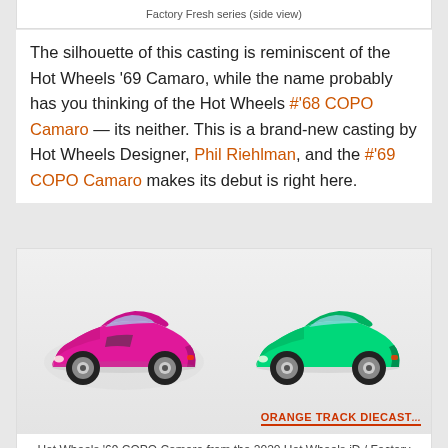Factory Fresh series (side view)
The silhouette of this casting is reminiscent of the Hot Wheels '69 Camaro, while the name probably has you thinking of the Hot Wheels #'68 COPO Camaro — its neither. This is a brand-new casting by Hot Wheels Designer, Phil Riehlman, and the #'69 COPO Camaro makes its debut is right here.
[Figure (photo): Two Hot Wheels die-cast cars side by side: a pink/magenta '68 COPO Camaro on the left and a green '69 COPO Camaro on the right, on a light gray background. Orange Track Diecast logo in the bottom right corner.]
Hot Wheels '69 COPO Camaro from the 2020 Hot Wheels iD / Factory Fresh series (head-to-head with Cool Classics: '68 COPO Camaro)